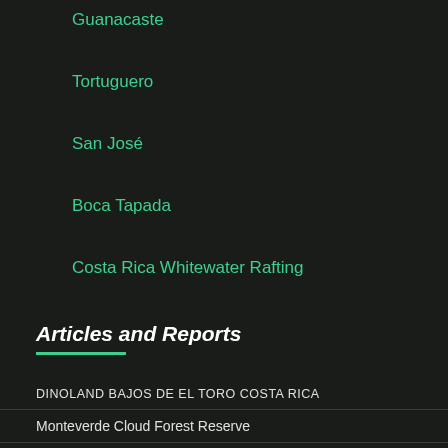Guanacaste
Tortuguero
San José
Boca Tapada
Costa Rica Whitewater Rafting
Articles and Reports
DINOLAND BAJOS DE EL TORO COSTA RICA
Monteverde Cloud Forest Reserve
Santa Teresa, Costa Rica